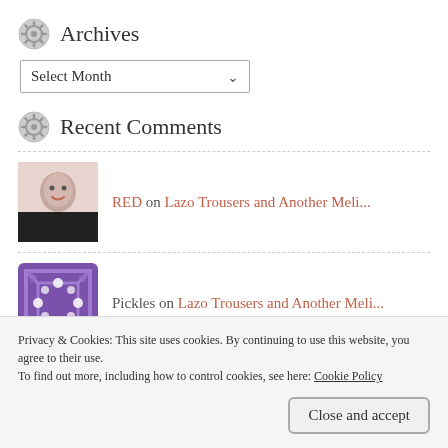Archives
Select Month
Recent Comments
RED on Lazo Trousers and Another Meli...
Pickles on Lazo Trousers and Another Meli...
RED on Repurposing My First Ginger Je...
Privacy & Cookies: This site uses cookies. By continuing to use this website, you agree to their use. To find out more, including how to control cookies, see here: Cookie Policy
Close and accept